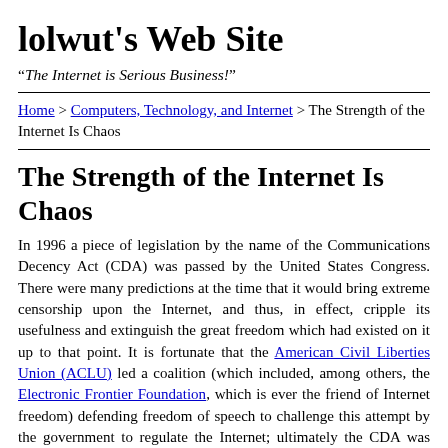lolwut's Web Site
“The Internet is Serious Business!”
Home > Computers, Technology, and Internet > The Strength of the Internet Is Chaos
The Strength of the Internet Is Chaos
In 1996 a piece of legislation by the name of the Communications Decency Act (CDA) was passed by the United States Congress. There were many predictions at the time that it would bring extreme censorship upon the Internet, and thus, in effect, cripple its usefulness and extinguish the great freedom which had existed on it up to that point. It is fortunate that the American Civil Liberties Union (ACLU) led a coalition (which included, among others, the Electronic Frontier Foundation, which is ever the friend of Internet freedom) defending freedom of speech to challenge this attempt by the government to regulate the Internet; ultimately the CDA was ruled unconstitutional in the both the lower courts as well as the